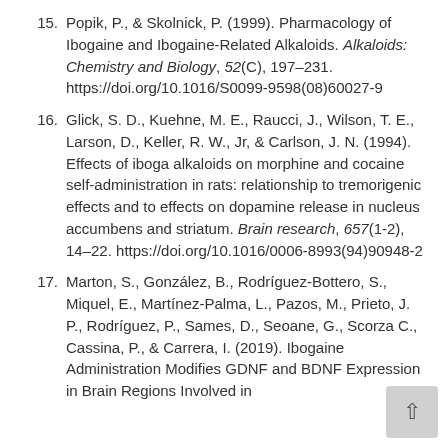15. Popik, P., & Skolnick, P. (1999). Pharmacology of Ibogaine and Ibogaine-Related Alkaloids. Alkaloids: Chemistry and Biology, 52(C), 197–231. https://doi.org/10.1016/S0099-9598(08)60027-9
16. Glick, S. D., Kuehne, M. E., Raucci, J., Wilson, T. E., Larson, D., Keller, R. W., Jr, & Carlson, J. N. (1994). Effects of iboga alkaloids on morphine and cocaine self-administration in rats: relationship to tremorigenic effects and to effects on dopamine release in nucleus accumbens and striatum. Brain research, 657(1-2), 14–22. https://doi.org/10.1016/0006-8993(94)90948-2
17. Marton, S., González, B., Rodríguez-Bottero, S., Miquel, E., Martínez-Palma, L., Pazos, M., Prieto, J. P., Rodríguez, P., Sames, D., Seoane, G., Scorza C., Cassina, P., & Carrera, I. (2019). Ibogaine Administration Modifies GDNF and BDNF Expression in Brain Regions Involved in…